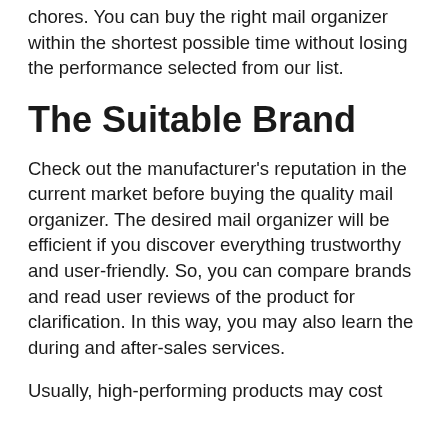chores. You can buy the right mail organizer within the shortest possible time without losing the performance selected from our list.
The Suitable Brand
Check out the manufacturer's reputation in the current market before buying the quality mail organizer. The desired mail organizer will be efficient if you discover everything trustworthy and user-friendly. So, you can compare brands and read user reviews of the product for clarification. In this way, you may also learn the during and after-sales services.
Usually, high-performing products may cost